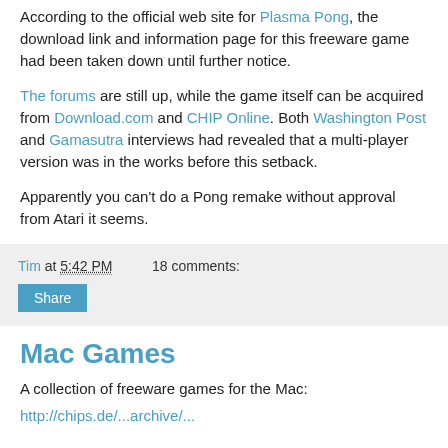According to the official web site for Plasma Pong, the download link and information page for this freeware game had been taken down until further notice.
The forums are still up, while the game itself can be acquired from Download.com and CHIP Online. Both Washington Post and Gamasutra interviews had revealed that a multi-player version was in the works before this setback.
Apparently you can't do a Pong remake without approval from Atari it seems.
Tim at 5:42 PM   18 comments:
Share
Mac Games
A collection of freeware games for the Mac:
http://chips.de/...archive/...